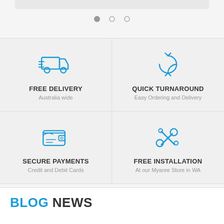[Figure (infographic): Carousel navigation dots: one filled grey dot and two empty circle dots]
[Figure (infographic): Four feature icons in a 2x2 grid: delivery truck (FREE DELIVERY, Australia wide), refresh arrows (QUICK TURNAROUND, Easy Ordering and Delivery), wallet (SECURE PAYMENTS, Credit and Debit Cards), wrench and screwdriver crossed (FREE INSTALLATION, At our Myaree Store in WA)]
BLOG NEWS